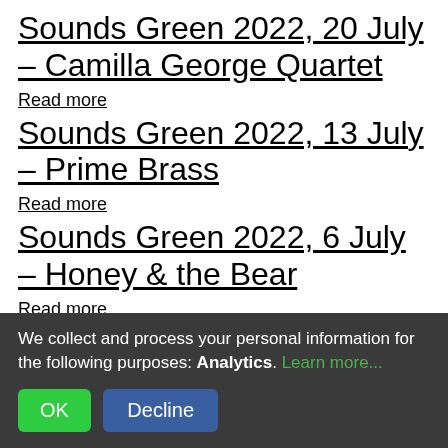Sounds Green 2022, 20 July – Camilla George Quartet
Read more
Sounds Green 2022, 13 July – Prime Brass
Read more
Sounds Green 2022, 6 July – Honey & the Bear
Read more
Student Music Concert:
We collect and process your personal information for the following purposes: Analytics. Learn more...
OK  Decline